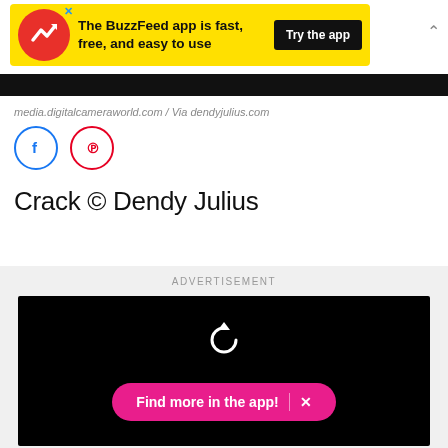[Figure (screenshot): BuzzFeed app advertisement banner: yellow background with red circular logo showing white trending arrow, text 'The BuzzFeed app is fast, free, and easy to use', black 'Try the app' button, and close X button]
[Figure (photo): Black horizontal bar (cropped image area)]
media.digitalcameraworld.com / Via dendyjulius.com
[Figure (screenshot): Social sharing icons: Facebook (blue circle with f) and Pinterest (red circle with P)]
Crack © Dendy Julius
[Figure (screenshot): Advertisement section with ADVERTISEMENT label, black video player area with white replay/refresh icon and pink 'Find more in the app!' button with X close icon]